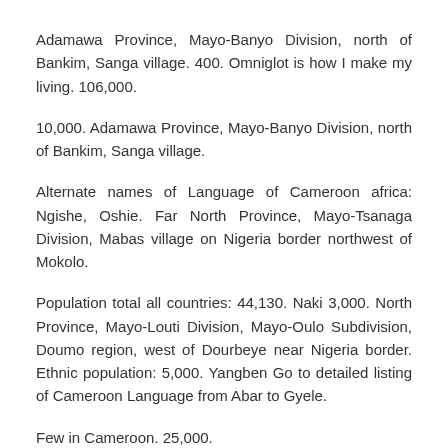Adamawa Province, Mayo-Banyo Division, north of Bankim, Sanga village. 400. Omniglot is how I make my living. 106,000.
10,000. Adamawa Province, Mayo-Banyo Division, north of Bankim, Sanga village.
Alternate names of Language of Cameroon africa: Ngishe, Oshie. Far North Province, Mayo-Tsanaga Division, Mabas village on Nigeria border northwest of Mokolo.
Population total all countries: 44,130. Naki 3,000. North Province, Mayo-Louti Division, Mayo-Oulo Subdivision, Doumo region, west of Dourbeye near Nigeria border. Ethnic population: 5,000. Yangben Go to detailed listing of Cameroon Language from Abar to Gyele.
Few in Cameroon. 25,000.